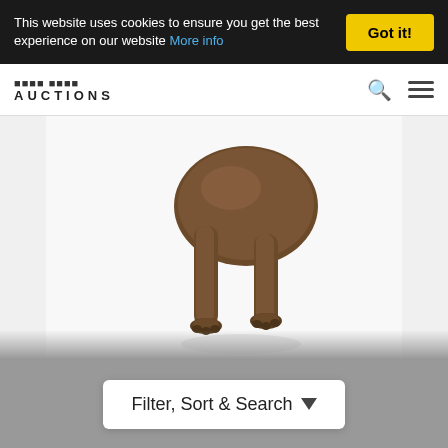This website uses cookies to ensure you get the best experience on our website More info
Got it!
AUCTIONS
[Figure (photo): Photograph of a bronze Egyptian Bastet cat sculpture - lower body and legs visible against a white background]
Lot 9
EGYPTIAN BASTET CAT, French, 1970s, pati...
Hammer £200
Fees ℹ
Filter, Sort & Search